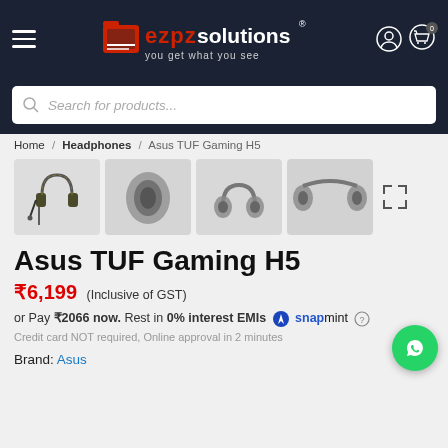ezpz solutions — you get what you see
Search for products...
Home / Headphones / Asus TUF Gaming H5
[Figure (photo): Four product images of Asus TUF Gaming H5 headphones from different angles]
Asus TUF Gaming H5
₹6,199 (Inclusive of GST)
or Pay ₹2066 now. Rest in 0% interest EMIs snapmint Credit card NOT required, Online approval in 2 minutes
Brand: Asus